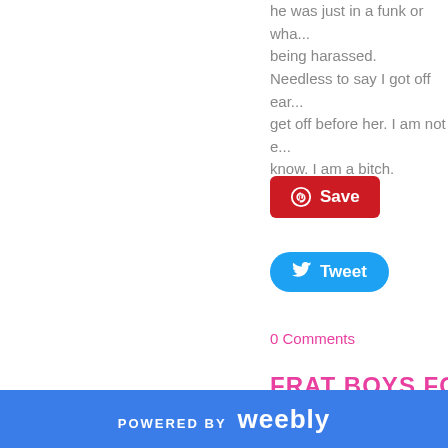he was just in a funk or whatever. he was being harassed.
Needless to say I got off ear... get off before her. I am not e... know. I am a bitch.
[Figure (other): Pinterest Save button (red rounded rectangle with Pinterest logo)]
[Figure (other): Twitter Tweet button (blue pill-shaped with Twitter bird logo)]
0 Comments
FRAT BOYS FOR D
11/13/2014
Let me tell you about Octob...
POWERED BY weebly